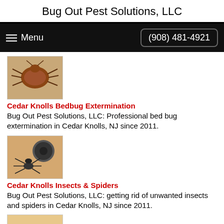Bug Out Pest Solutions, LLC
Menu  (908) 481-4921
[Figure (photo): Close-up photo of a bedbug insect]
Cedar Knolls Bedbug Extermination
Bug Out Pest Solutions, LLC: Professional bed bug extermination in Cedar Knolls, NJ since 2011.
[Figure (photo): Photo of a spider near a drain]
Cedar Knolls Insects & Spiders
Bug Out Pest Solutions, LLC: getting rid of unwanted insects and spiders in Cedar Knolls, NJ since 2011.
[Figure (photo): Photo of a small dog on a rug, flea removal]
Cedar Knolls Flea Removal